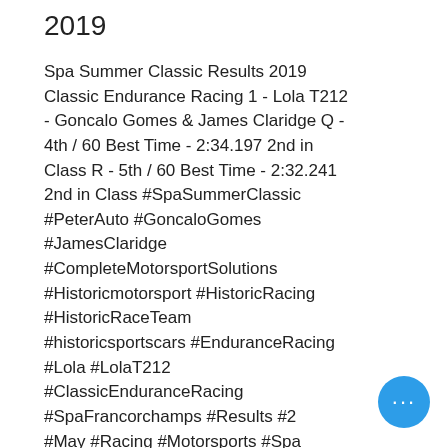2019
Spa Summer Classic Results 2019 Classic Endurance Racing 1 - Lola T212 - Goncalo Gomes & James Claridge Q - 4th / 60 Best Time - 2:34.197 2nd in Class R - 5th / 60 Best Time - 2:32.241 2nd in Class #SpaSummerClassic #PeterAuto #GoncaloGomes #JamesClaridge #CompleteMotorsportSolutions #Historicmotorsport #HistoricRacing #HistoricRaceTeam #historicsportscars #EnduranceRacing #Lola #LolaT212 #ClassicEnduranceRacing #SpaFrancorchamps #Results #2 #May #Racing #Motorsports #Spa